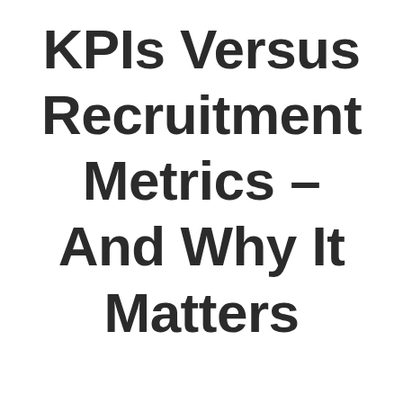KPIs Versus Recruitment Metrics – And Why It Matters